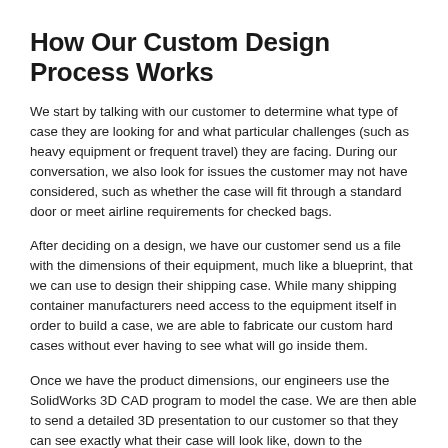How Our Custom Design Process Works
We start by talking with our customer to determine what type of case they are looking for and what particular challenges (such as heavy equipment or frequent travel) they are facing. During our conversation, we also look for issues the customer may not have considered, such as whether the case will fit through a standard door or meet airline requirements for checked bags.
After deciding on a design, we have our customer send us a file with the dimensions of their equipment, much like a blueprint, that we can use to design their shipping case. While many shipping container manufacturers need access to the equipment itself in order to build a case, we are able to fabricate our custom hard cases without ever having to see what will go inside them.
Once we have the product dimensions, our engineers use the SolidWorks 3D CAD program to model the case. We are then able to send a detailed 3D presentation to our customer so that they can see exactly what their case will look like, down to the placement of the handles and holes.